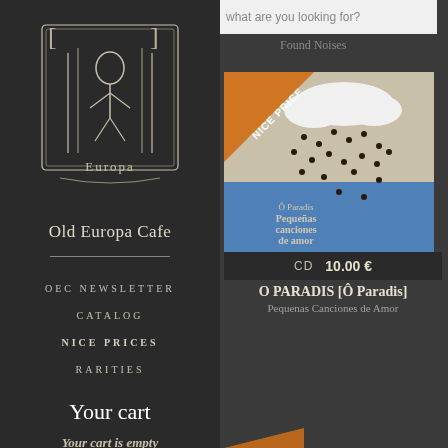[Figure (logo): Old Europa Cafe logo — stylized figure with ornate border, white on dark background]
Old Europa Cafe
OEC NEWSLETTER
CATALOG
NICE PRICES
RARITIES
Your cart
Your cart is empty
what are you looking for?
Found Noises
[Figure (photo): Album art for O PARADIS Pequenas Canciones de Amor — illustration of dark rain drops falling from a white cloud into blue water, with orange NICE PRICE corner badge]
CD  10.00 €
O PARADIS [Ô Paradis]
Pequenas Canciones de Amor